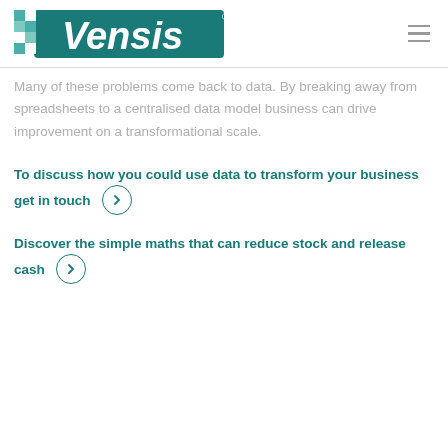Vensis
Many of these problems come back to data. By breaking away from spreadsheets to a centralised data model business can drive improvement on a transformational scale.
To discuss how you could use data to transform your business get in touch
Discover the simple maths that can reduce stock and release cash